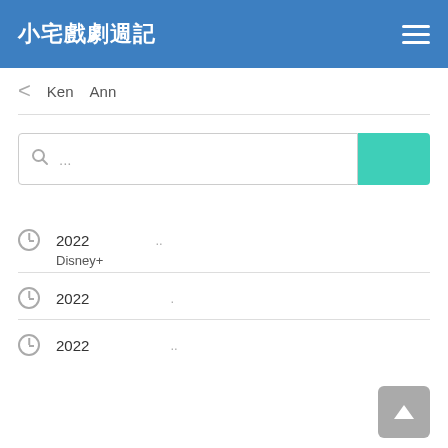小宅戲劇週記
Ken  Ann
[Figure (screenshot): Search bar with magnifying glass icon and placeholder '...' followed by a teal/green search button]
🕐  2022  ..  Disney+
🕐  2022  ..
🕐  2022  ..